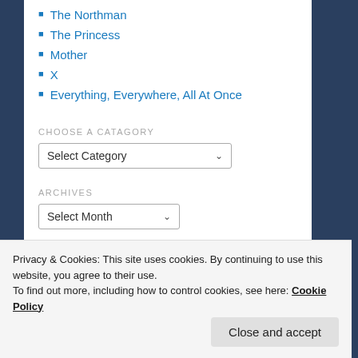The Northman
The Princess
Mother
X
Everything, Everywhere, All At Once
CHOOSE A CATAGORY
Select Category
ARCHIVES
Select Month
RECOMMENDED BLOGS
Privacy & Cookies: This site uses cookies. By continuing to use this website, you agree to their use.
To find out more, including how to control cookies, see here: Cookie Policy
Close and accept